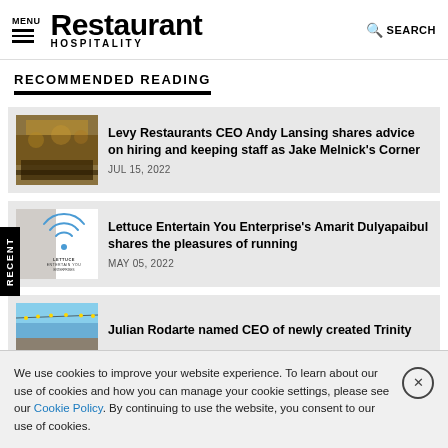MENU | Restaurant HOSPITALITY | SEARCH
RECOMMENDED READING
[Figure (photo): Restaurant interior thumbnail image]
Levy Restaurants CEO Andy Lansing shares advice on hiring and keeping staff as Jake Melnick's Corner
JUL 15, 2022
[Figure (logo): Lettuce Entertain You Enterprise logo with radio wave graphic]
Lettuce Entertain You Enterprise's Amarit Dulyapaibul shares the pleasures of running
MAY 05, 2022
[Figure (photo): Outdoor restaurant or building thumbnail image]
Julian Rodarte named CEO of newly created Trinity
We use cookies to improve your website experience. To learn about our use of cookies and how you can manage your cookie settings, please see our Cookie Policy. By continuing to use the website, you consent to our use of cookies.